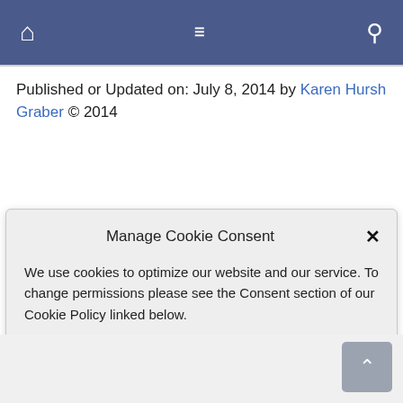Navigation bar with home, menu, and search icons
Published or Updated on: July 8, 2014 by Karen Hursh Graber © 2014
Manage Cookie Consent
We use cookies to optimize our website and our service. To change permissions please see the Consent section of our Cookie Policy linked below.
Accept